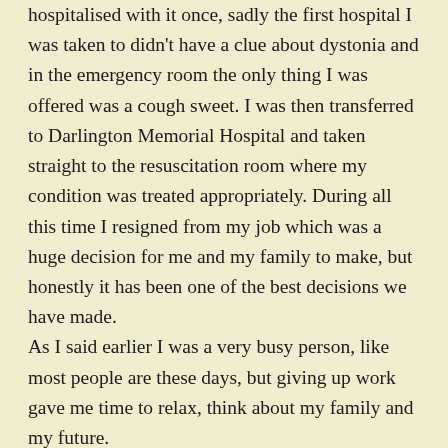hospitalised with it once, sadly the first hospital I was taken to didn't have a clue about dystonia and in the emergency room the only thing I was offered was a cough sweet. I was then transferred to Darlington Memorial Hospital and taken straight to the resuscitation room where my condition was treated appropriately. During all this time I resigned from my job which was a huge decision for me and my family to make, but honestly it has been one of the best decisions we have made. As I said earlier I was a very busy person, like most people are these days, but giving up work gave me time to relax, think about my family and my future. I also became involved with a local charity which supports people with dystonia called Action for Dystonia, Diagnosis, Education and Research (ADDER) and I have met lots of people who also have dystonia in various forms, and there are a lot of types of dystonia! I